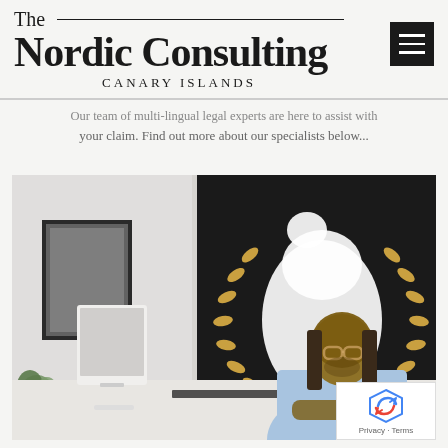The Nordic Consulting CANARY ISLANDS
Our team of multi-lingual legal experts are here to assist with your claim. Find out more about our specialists below...
[Figure (photo): A man in a light blue shirt sits at a white desk with a computer monitor, in front of a large black panel featuring a white map of Africa surrounded by gold laurel branches. A framed picture hangs on the left wall. A green plant is visible on the left side.]